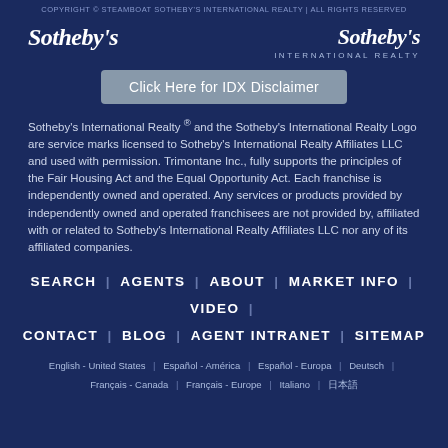COPYRIGHT © STEAMBOAT SOTHEBY'S INTERNATIONAL REALTY | ALL RIGHTS RESERVED
[Figure (logo): Sotheby's italic serif logo (left)]
[Figure (logo): Sotheby's International Realty logo (right)]
Click Here for IDX Disclaimer
Sotheby's International Realty ® and the Sotheby's International Realty Logo are service marks licensed to Sotheby's International Realty Affiliates LLC and used with permission. Trimontane Inc., fully supports the principles of the Fair Housing Act and the Equal Opportunity Act. Each franchise is independently owned and operated. Any services or products provided by independently owned and operated franchisees are not provided by, affiliated with or related to Sotheby's International Realty Affiliates LLC nor any of its affiliated companies.
SEARCH | AGENTS | ABOUT | MARKET INFO | VIDEO | CONTACT | BLOG | AGENT INTRANET | SITEMAP
English - United States | Español - América | Español - Europa | Deutsch | Français - Canada | Français - Europe | Italiano | 日本語